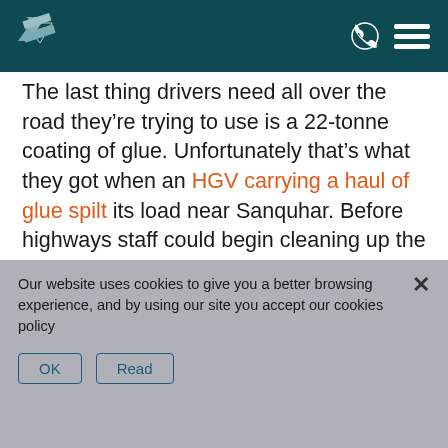[Logo] [Phone icon] [Menu icon]
The last thing drivers need all over the road they're trying to use is a 22-tonne coating of glue. Unfortunately that's what they got when an HGV carrying a haul of glue spilt its load near Sanquhar. Before highways staff could begin cleaning up the spillage, they had to first find out what kind of glue it was and whether or not it was hazardous. The safety of the glue was
Our website uses cookies to give you a better browsing experience, and by using our site you accept our cookies policy